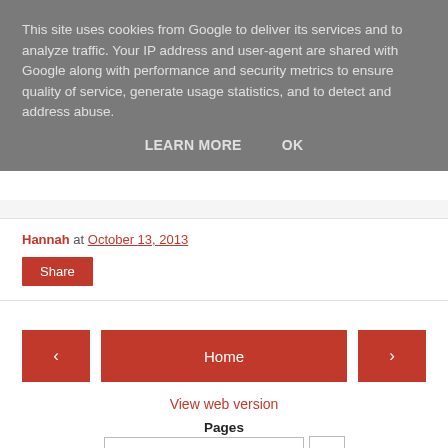This site uses cookies from Google to deliver its services and to analyze traffic. Your IP address and user-agent are shared with Google along with performance and security metrics to ensure quality of service, generate usage statistics, and to detect and address abuse.
LEARN MORE   OK
Hannah at October 13, 2013
Share
‹
Home
›
View web version
Pages
Home